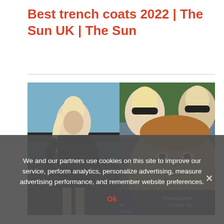Best trench coats 2022 | The Sun UK | The Sun
[Figure (photo): Two photos side by side: left shows a woman with long blonde hair wearing a black fitted outfit standing on a boat with ocean in background; right shows a close-up of a man's face with tanned skin and a group selfie of two blonde women wearing sunglasses in the upper portion]
We and our partners use cookies on this site to improve our service, perform analytics, personalize advertising, measure advertising performance, and remember website preferences.
Ok